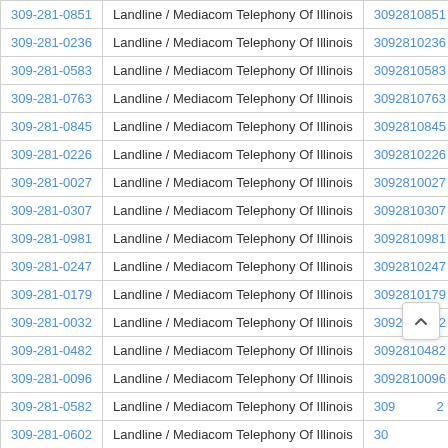| Phone | Type / Carrier | Raw Number |
| --- | --- | --- |
| 309-281-0851 | Landline / Mediacom Telephony Of Illinois | 3092810851 |
| 309-281-0236 | Landline / Mediacom Telephony Of Illinois | 3092810236 |
| 309-281-0583 | Landline / Mediacom Telephony Of Illinois | 3092810583 |
| 309-281-0763 | Landline / Mediacom Telephony Of Illinois | 3092810763 |
| 309-281-0845 | Landline / Mediacom Telephony Of Illinois | 3092810845 |
| 309-281-0226 | Landline / Mediacom Telephony Of Illinois | 3092810226 |
| 309-281-0027 | Landline / Mediacom Telephony Of Illinois | 3092810027 |
| 309-281-0307 | Landline / Mediacom Telephony Of Illinois | 3092810307 |
| 309-281-0981 | Landline / Mediacom Telephony Of Illinois | 3092810981 |
| 309-281-0247 | Landline / Mediacom Telephony Of Illinois | 3092810247 |
| 309-281-0179 | Landline / Mediacom Telephony Of Illinois | 3092810179 |
| 309-281-0032 | Landline / Mediacom Telephony Of Illinois | 3092810032 |
| 309-281-0482 | Landline / Mediacom Telephony Of Illinois | 3092810482 |
| 309-281-0096 | Landline / Mediacom Telephony Of Illinois | 3092810096 |
| 309-281-0582 | Landline / Mediacom Telephony Of Illinois | 309*****2 |
| 309-281-0602 | Landline / Mediacom Telephony Of Illinois | 30******* |
| 309-281-0363 | Landline / Mediacom Telephony Of Illinois | 3092810363 |
| 309-281-0123 | Landline / Mediacom Telephony Of Illinois | 3092810123 |
| 309-281-0… | Landline / Mediacom Telephony Of Illinois | 309281… |